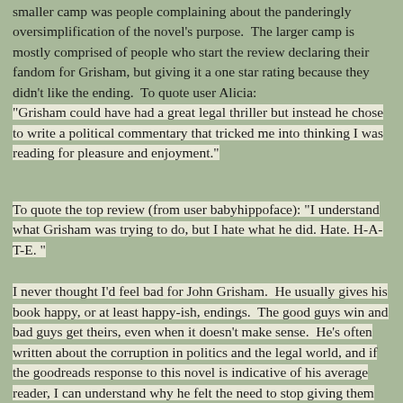smaller camp was people complaining about the panderingly oversimplification of the novel's purpose.  The larger camp is mostly comprised of people who start the review declaring their fandom for Grisham, but giving it a one star rating because they didn't like the ending.  To quote user Alicia: "Grisham could have had a great legal thriller but instead he chose to write a political commentary that tricked me into thinking I was reading for pleasure and enjoyment."
To quote the top review (from user babyhippoface): "I understand what Grisham was trying to do, but I hate what he did. Hate. H-A-T-E. "
I never thought I'd feel bad for John Grisham.  He usually gives his book happy, or at least happy-ish, endings.  The good guys win and bad guys get theirs, even when it doesn't make sense.  He's often written about the corruption in politics and the legal world, and if the goodreads response to this novel is indicative of his average reader, I can understand why he felt the need to stop giving them happy endings.  Look, I get that people want stories that are entertaining.  There's nothing wrong with entertainment, with enjoyment, with reading for pleasure.  But what level of